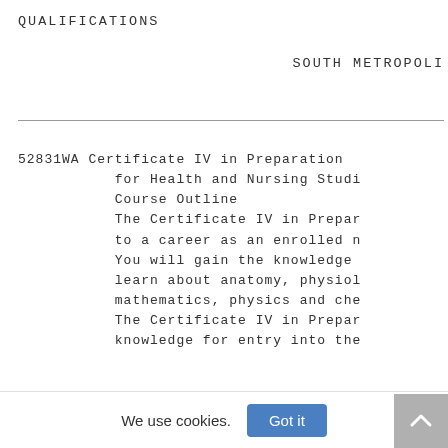QUALIFICATIONS
SOUTH METROPOLI
52831WA Certificate IV in Preparation for Health and Nursing Studi Course Outline The Certificate IV in Prepar to a career as an enrolled n You will gain the knowledge learn about anatomy, physiol mathematics, physics and che The Certificate IV in Prepar knowledge for entry into the
We use cookies.